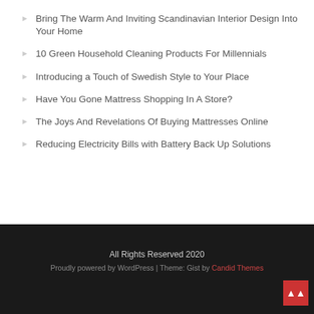Bring The Warm And Inviting Scandinavian Interior Design Into Your Home
10 Green Household Cleaning Products For Millennials
Introducing a Touch of Swedish Style to Your Place
Have You Gone Mattress Shopping In A Store?
The Joys And Revelations Of Buying Mattresses Online
Reducing Electricity Bills with Battery Back Up Solutions
All Rights Reserved 2020
Proudly powered by WordPress | Theme: Gist by Candid Themes